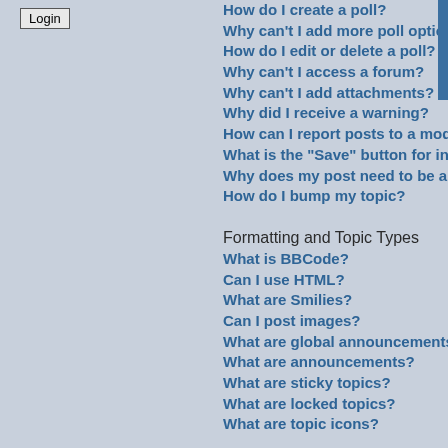[Figure (screenshot): Login button in top-left corner of left panel]
How do I create a poll?
Why can't I add more poll options?
How do I edit or delete a poll?
Why can't I access a forum?
Why can't I add attachments?
Why did I receive a warning?
How can I report posts to a moderator?
What is the "Save" button for in topic posting?
Why does my post need to be approved?
How do I bump my topic?
Formatting and Topic Types
What is BBCode?
Can I use HTML?
What are Smilies?
Can I post images?
What are global announcements?
What are announcements?
What are sticky topics?
What are locked topics?
What are topic icons?
Login and Registration